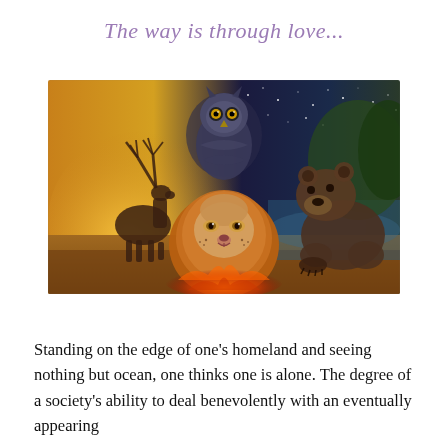The way is through love...
[Figure (illustration): Composite fantasy illustration showing four animals together: a stag (deer with antlers) silhouetted against a golden sunset on the left, a great horned owl against a starry night sky in the upper center, a brown bear walking toward the viewer on the right against a forest river background, and a majestic lion with a full mane in the foreground center amid flames/fire.]
Standing on the edge of one's homeland and seeing nothing but ocean, one thinks one is alone. The degree of a society's ability to deal benevolently with an eventually appearing